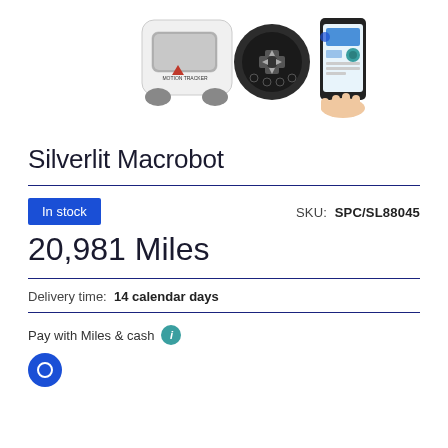[Figure (photo): Product photo showing a Silverlit Macrobot robot toy with a game controller and a hand holding a smartphone with app interface]
Silverlit Macrobot
In stock
SKU: SPC/SL88045
20,981 Miles
Delivery time: 14 calendar days
Pay with Miles & cash